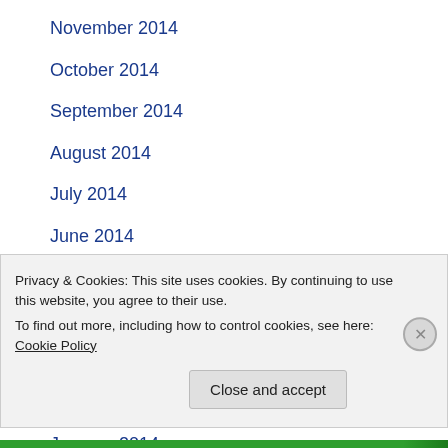November 2014
October 2014
September 2014
August 2014
July 2014
June 2014
May 2014
April 2014
March 2014
February 2014
January 2014
December 2013
Privacy & Cookies: This site uses cookies. By continuing to use this website, you agree to their use.
To find out more, including how to control cookies, see here: Cookie Policy
Close and accept